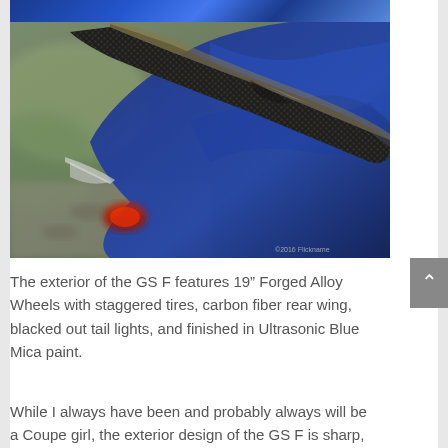[Figure (photo): Close-up photograph of a carbon fiber rear wing/spoiler on a Lexus GS F sports car finished in Ultrasonic Blue Mica paint. The carbon fiber weave texture is prominently visible along the edge of the wing, with the deep blue metallic car body visible below and background showing blurred gravel and foliage.]
The exterior of the GS F features 19” Forged Alloy Wheels with staggered tires, carbon fiber rear wing, blacked out tail lights, and finished in Ultrasonic Blue Mica paint.
While I always have been and probably always will be a Coupe girl, the exterior design of the GS F is sharp,